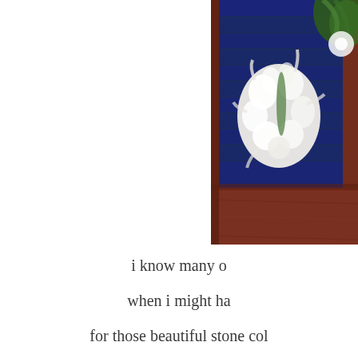[Figure (photo): A photo showing white hyacinth flowers in bloom against a dark navy/blue background, framed by a dark reddish-brown wooden frame. Green foliage and a white flower are partially visible in the top right corner. The lower portion shows the wooden frame surface with a hint of red at the bottom right.]
i know many o
when i might ha
for those beautiful stone col